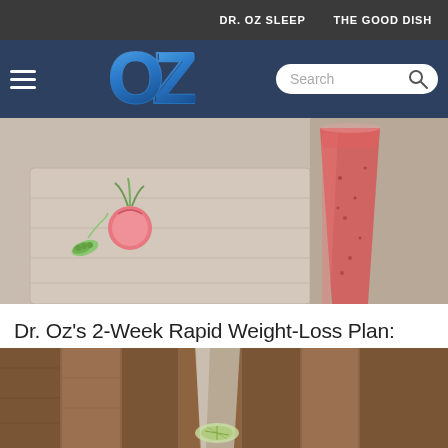DR. OZ SLEEP    THE GOOD DISH
[Figure (logo): OZ logo in blue gradient with hamburger menu and search bar on dark blue header]
[Figure (photo): Pink/red berry breakfast smoothie in tall glass with radish and greens on wooden board]
Dr. Oz's 2-Week Rapid Weight-Loss Plan: Breakfast Smoothie
[Figure (photo): Clear drink or water with lime/cucumber on wooden table background, partially visible]